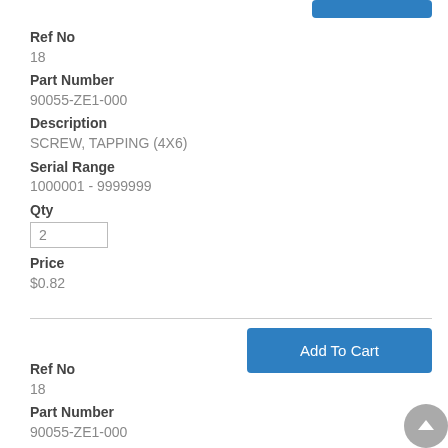Ref No
18
Part Number
90055-ZE1-000
Description
SCREW, TAPPING (4X6)
Serial Range
1000001 - 9999999
Qty
2
Price
$0.82
Add To Cart
Ref No
18
Part Number
90055-ZE1-000
Description